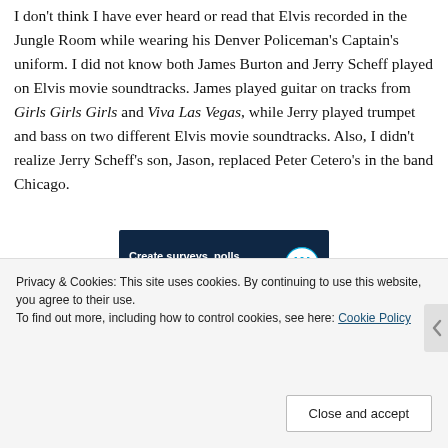I don't think I have ever heard or read that Elvis recorded in the Jungle Room while wearing his Denver Policeman's Captain's uniform. I did not know both James Burton and Jerry Scheff played on Elvis movie soundtracks. James played guitar on tracks from Girls Girls Girls and Viva Las Vegas, while Jerry played trumpet and bass on two different Elvis movie soundtracks. Also, I didn't realize Jerry Scheff's son, Jason, replaced Peter Cetero's in the band Chicago.
[Figure (other): WordPress advertisement banner: 'Create surveys, polls, quizzes, and forms.' with WordPress logo]
REPORT THIS AD
Privacy & Cookies: This site uses cookies. By continuing to use this website, you agree to their use.
To find out more, including how to control cookies, see here: Cookie Policy